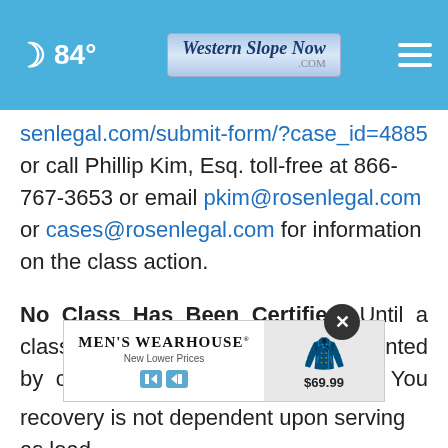84° Western Slope Now .com
senlegal.com/submit-form/?case_id=4885 or call Phillip Kim, Esq. toll-free at 866-767-3653 or email pkim@rosenlegal.com or cases@rosenlegal.com for information on the class action.
No Class Has Been Certified. Until a class is certified, you are not represented by counsel unless you retain one. You may select counsel of your choice. You may also remain an absent class member and do nothing at this point. An investigation of future recovery is not dependent upon serving as lead
[Figure (other): Men's Wearhouse advertisement banner with New Lower Prices tagline, showing a suit for $69.99 with close button overlay]